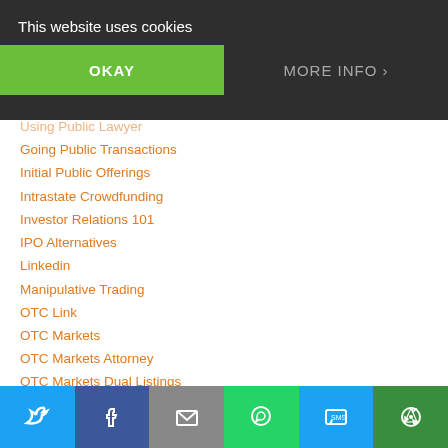This website uses cookies
Going Public Transactions
Initial Public Offerings
Intrastate Crowdfunding
Investor Relations 101
IPO Alternatives
Linkedin
Manipulative Trading
OTC Link
OTC Markets
OTC Markets Attorney
OTC Markets Dual Listings
OTC Pink Sheets
OTCQB Listing, Eligibility, Quotation
OTCQX Listing, Eligibility, Quotation
Penny Stocks
Periodic Reporting
Private Placements
Public Company SEC Reporting Requirements
Share bar: Twitter, Facebook, Email, WhatsApp, SMS, More